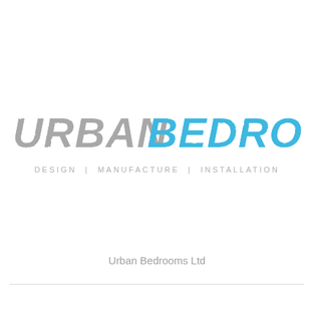[Figure (logo): Urban Bedrooms logo with 'URBAN' in grey italic bold and 'BEDROOMS' in blue italic bold, with distressed/textured font effect. Below: 'DESIGN | MANUFACTURE | INSTALLATION' in light grey uppercase spaced text.]
Urban Bedrooms Ltd